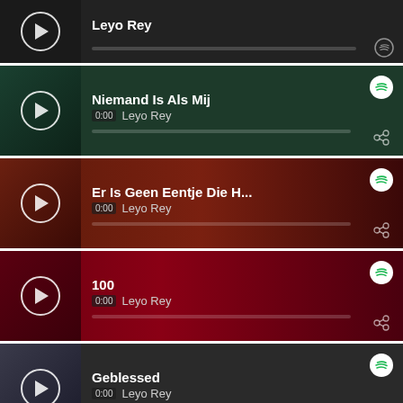[Figure (screenshot): Music player list showing 6 tracks by Leyo Rey: 'Leyo Rey' (partial/cropped), 'Niemand Is Als Mij', 'Er Is Geen Eentje Die H...', '100', 'Geblessed', and 'Fuck Rey Savage'. Each track shows album art, play button, title, artist name 'Leyo Rey', timestamp '0:00', a progress bar, Spotify icon, and share icon. Backgrounds are dark green, dark red-brown, dark crimson, dark gray, and purple respectively.]